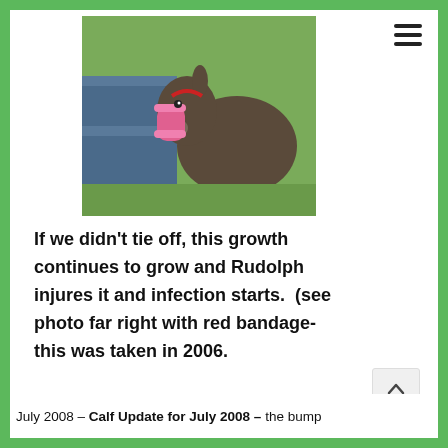[Figure (photo): A donkey with a pink bandage on its leg, near a wooden fence outdoors, wearing a red halter.]
If we didn't tie off, this growth continues to grow and Rudolph injures it and infection starts.  (see photo far right with red bandage- this was taken in 2006.
July 2008 – Calf Update for July 2008 –  the bump